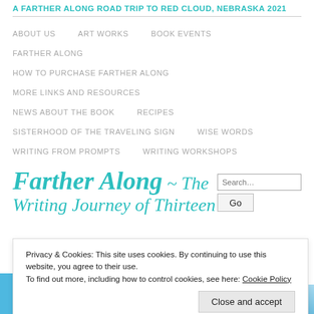A FARTHER ALONG ROAD TRIP TO RED CLOUD, NEBRASKA 2021
ABOUT US
ART WORKS
BOOK EVENTS
FARTHER ALONG
HOW TO PURCHASE FARTHER ALONG
MORE LINKS AND RESOURCES
NEWS ABOUT THE BOOK
RECIPES
SISTERHOOD OF THE TRAVELING SIGN
WISE WORDS
WRITING FROM PROMPTS
WRITING WORKSHOPS
Farther Along ~ The Writing Journey of Thirteen
Privacy & Cookies: This site uses cookies. By continuing to use this website, you agree to their use.
To find out more, including how to control cookies, see here: Cookie Policy
Close and accept